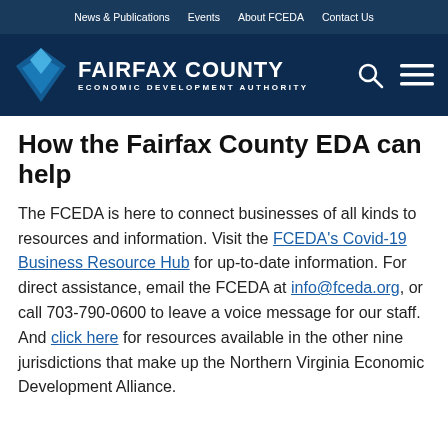News & Publications  Events  About FCEDA  Contact Us
[Figure (logo): Fairfax County Economic Development Authority logo with diamond shape and white text on dark navy background]
How the Fairfax County EDA can help
The FCEDA is here to connect businesses of all kinds to resources and information. Visit the FCEDA's Covid-19 Business Resource Hub for up-to-date information. For direct assistance, email the FCEDA at info@fceda.org, or call 703-790-0600 to leave a voice message for our staff. And click here for resources available in the other nine jurisdictions that make up the Northern Virginia Economic Development Alliance.